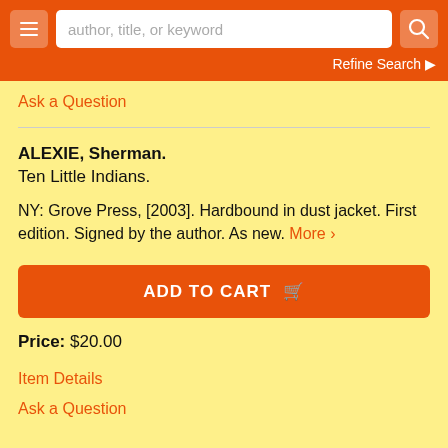author, title, or keyword | Refine Search
Ask a Question
ALEXIE, Sherman.
Ten Little Indians.

NY: Grove Press, [2003]. Hardbound in dust jacket. First edition. Signed by the author. As new. More ›
ADD TO CART
Price: $20.00
Item Details
Ask a Question